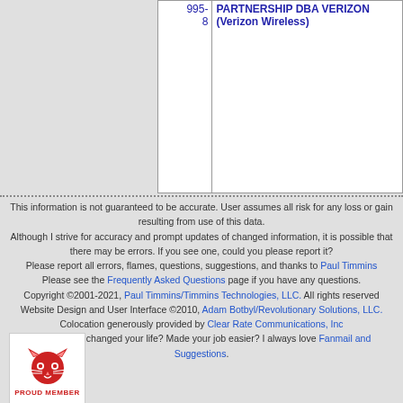| Number | Name |
| --- | --- |
| 995-8 | PARTNERSHIP DBA VERIZON (Verizon Wireless) |
This information is not guaranteed to be accurate. User assumes all risk for any loss or gain resulting from use of this data. Although I strive for accuracy and prompt updates of changed information, it is possible that there may be errors. If you see one, could you please report it? Please report all errors, flames, questions, suggestions, and thanks to Paul Timmins Please see the Frequently Asked Questions page if you have any questions. Copyright ©2001-2021, Paul Timmins/Timmins Technologies, LLC. All rights reserved Website Design and User Interface ©2010, Adam Botbyl/Revolutionary Solutions, LLC. Colocation generously provided by Clear Rate Communications, Inc Has this site changed your life? Made your job easier? I always love Fanmail and Suggestions.
[Figure (logo): Red cat face logo with PROUD MEMBER text below]